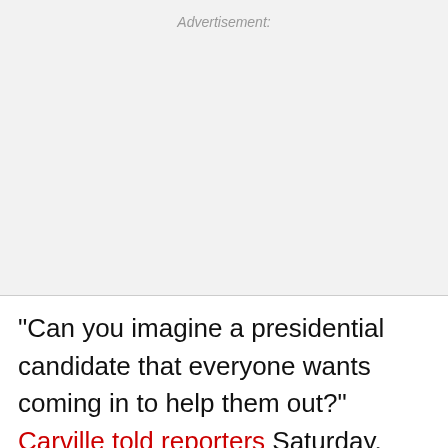Advertisement:
"Can you imagine a presidential candidate that everyone wants coming in to help them out?" Carville told reporters Saturday. "You can nominate Bernie